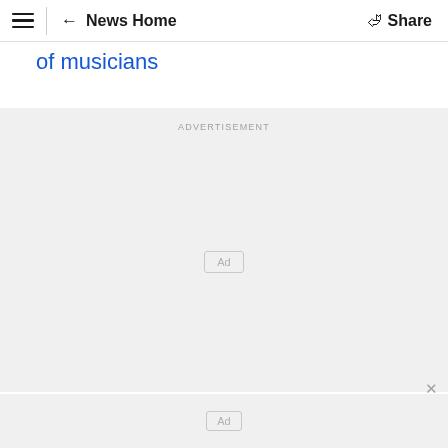≡  ← News Home  Share
of musicians
[Figure (other): Advertisement placeholder area with 'ADVERTISEMENT' label and 'Ad' box in center]
[Figure (other): Bottom advertisement placeholder area with 'Ad' box]